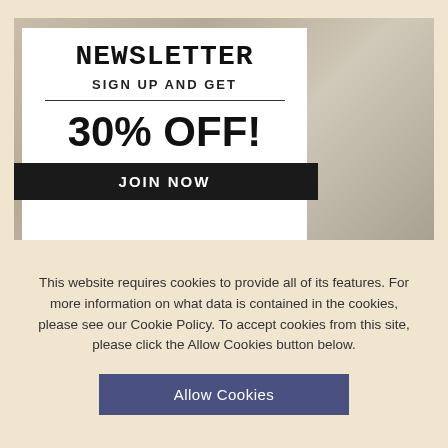[Figure (illustration): Newsletter sign-up promotional card over a newspaper stack background. The white card shows 'NEWSLETTER' in bold serif/monospace font, 'SIGN UP AND GET' with a divider line, '30% OFF!' in large bold text, and a dark 'JOIN NOW' button.]
This website requires cookies to provide all of its features. For more information on what data is contained in the cookies, please see our Cookie Policy. To accept cookies from this site, please click the Allow Cookies button below.
Allow Cookies